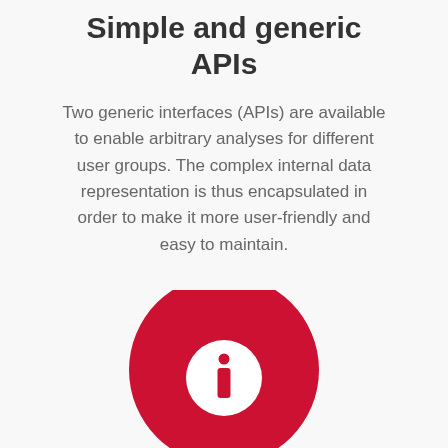Simple and generic APIs
Two generic interfaces (APIs) are available to enable arbitrary analyses for different user groups. The complex internal data representation is thus encapsulated in order to make it more user-friendly and easy to maintain.
[Figure (illustration): A large red circle with a white circle inside containing a lowercase letter 'i' in red, representing an information icon. The bottom portion of the red circle is cropped at the page edge.]